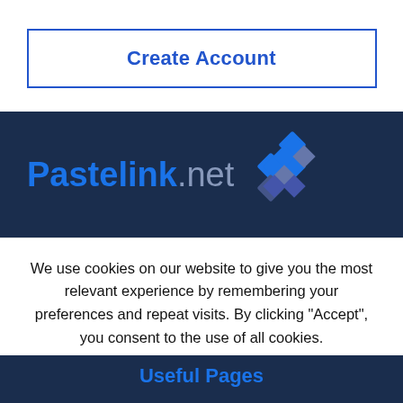Create Account
[Figure (logo): Pastelink.net logo with blue and grey diamond/cross pattern icon on dark navy background]
We use cookies on our website to give you the most relevant experience by remembering your preferences and repeat visits. By clicking “Accept”, you consent to the use of all cookies.
Accept
Useful Pages
Create New Paste
Your Account